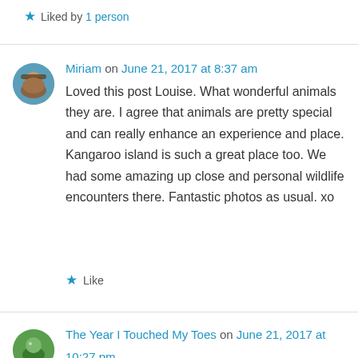★ Liked by 1 person
Miriam on June 21, 2017 at 8:37 am
Loved this post Louise. What wonderful animals they are. I agree that animals are pretty special and can really enhance an experience and place. Kangaroo island is such a great place too. We had some amazing up close and personal wildlife encounters there. Fantastic photos as usual. xo
★ Like
The Year I Touched My Toes on June 21, 2017 at 10:27 pm